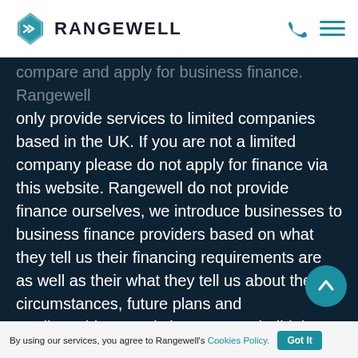RANGEWELL
compare and apply for business finance. Rangewell only provide services to limited companies based in the UK. If you are not a limited company please do not apply for finance via this website. Rangewell do not provide finance ourselves, we introduce businesses to business finance providers based on what they tell us their financing requirements are as well as their what they tell us about their circumstances, future plans and creditworthiness. It is important to build the confidence of lenders by providing as much information as clearly and completely as possible. For this reason, information that you provide to us via telephone or our website for the purposes of Rangewell helping you t…
By using our services, you agree to Rangewell's Cookies Policy. Got It